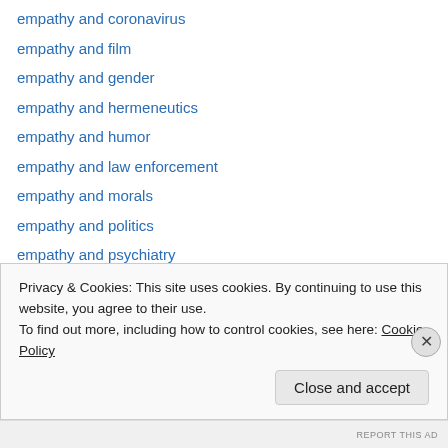empathy and coronavirus
empathy and film
empathy and gender
empathy and hermeneutics
empathy and humor
empathy and law enforcement
empathy and morals
empathy and politics
empathy and psychiatry
empathy and screen
empathy and technology
empathy and the coronavirus
empathy and the true believer
Privacy & Cookies: This site uses cookies. By continuing to use this website, you agree to their use. To find out more, including how to control cookies, see here: Cookie Policy
Close and accept